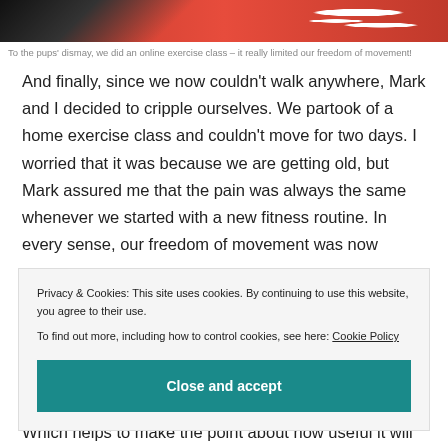[Figure (photo): Top portion of a photo showing a red background with what appears to be white lettering or an animal in red clothing]
To the pups' dismay, we did an online exercise class – it really limited our freedom of movement!
And finally, since we now couldn't walk anywhere, Mark and I decided to cripple ourselves. We partook of a home exercise class and couldn't move for two days. I worried that it was because we are getting old, but Mark assured me that the pain was always the same whenever we started with a new fitness routine. In every sense, our freedom of movement was now
Privacy & Cookies: This site uses cookies. By continuing to use this website, you agree to their use.
To find out more, including how to control cookies, see here: Cookie Policy
Close and accept
Which helps to make the point about how useful it will